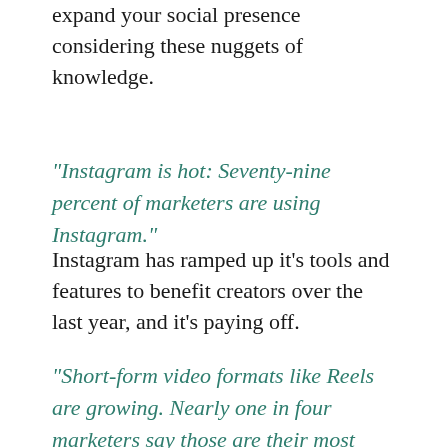expand your social presence considering these nuggets of knowledge.
“Instagram is hot: Seventy-nine percent of marketers are using Instagram.”
Instagram has ramped up it’s tools and features to benefit creators over the last year, and it’s paying off.
“Short-form video formats like Reels are growing. Nearly one in four marketers say those are their most important video formats.”
If you invest time learning anything this year,